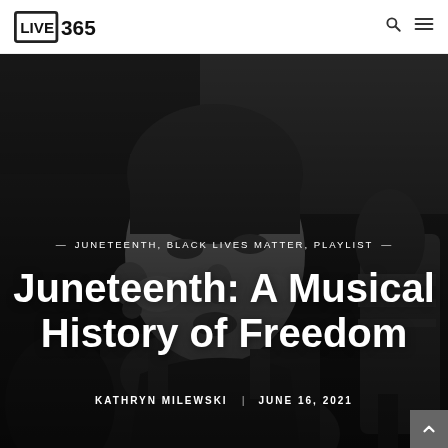LIVE 365
[Figure (photo): Black and white photograph of a woman (appears to be a jazz singer) looking upward near a vintage microphone, serving as the hero image background for the article.]
JUNETEENTH, BLACK LIVES MATTER, PLAYLIST
Juneteenth: A Musical History of Freedom
KATHRYN MILEWSKI  |  JUNE 16, 2021